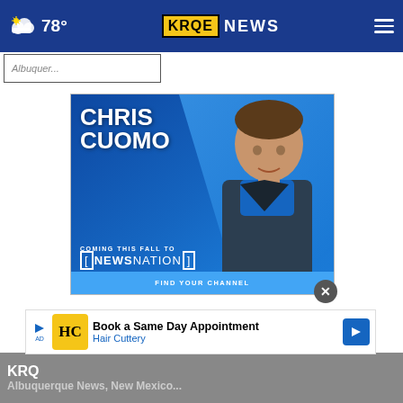78° KRQE NEWS
[Figure (screenshot): Partially visible search/navigation bar below the header]
[Figure (advertisement): Chris Cuomo Coming This Fall to NewsNation advertisement with blue background and photo of Chris Cuomo]
[Figure (advertisement): Book a Same Day Appointment - Hair Cuttery bottom banner ad]
KRQE / Albuquerque News, New Mexico...